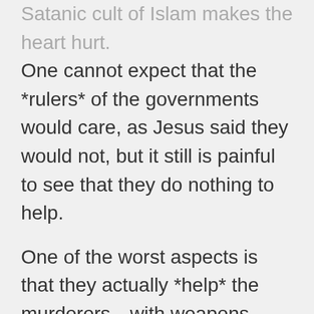Satanic cult of Islam makes the heart hurt. One cannot expect that the *rulers* of the governments would care, as Jesus said they would not, but it still is painful to see that they do nothing to help.
One of the worst aspects is that they actually *help* the murderers…with weapons, with support, with their words of excuse to condone what is being done. And to lie and say it is not because those being killed are of a different religion, but the murderers don't have jobs. Going so far as to condemn any action to put an end to the slaughter by rounding up or killing the murderers.
All of this is not going unnoticed by our Sovereign Lord Jehovah and His Son to